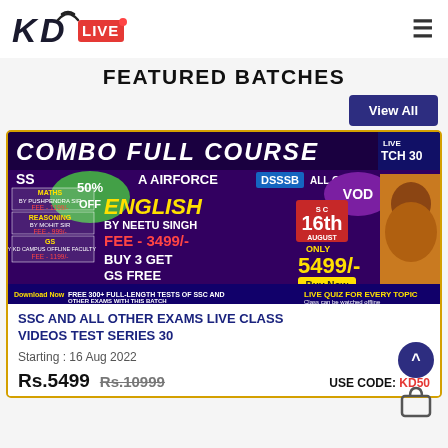[Figure (logo): KD Live logo with red LIVE badge and wifi signal icon]
FEATURED BATCHES
View All
[Figure (illustration): Combo Full Course promotional banner showing 50% OFF badge, VOD badge, English by Neetu Singh, Fee 3499/-, Buy 3 Get GS Free, Only 5499/-, 16th August start date, teacher photo, SSC AIRFORCE DSSSB exams]
SSC AND ALL OTHER EXAMS LIVE CLASS VIDEOS TEST SERIES 30
Starting : 16 Aug 2022
Rs.5499   Rs.10999   USE CODE: KD50